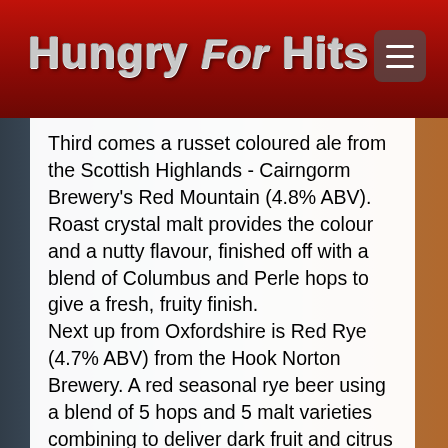Hungry For Hits
Third comes a russet coloured ale from the Scottish Highlands - Cairngorm Brewery's Red Mountain (4.8% ABV). Roast crystal malt provides the colour and a nutty flavour, finished off with a blend of Columbus and Perle hops to give a fresh, fruity finish.
Next up from Oxfordshire is Red Rye (4.7% ABV) from the Hook Norton Brewery. A red seasonal rye beer using a blend of 5 hops and 5 malt varieties combining to deliver dark fruit and citrus aromas, with flavours of dates and raisins, balanced by a citrus twist.